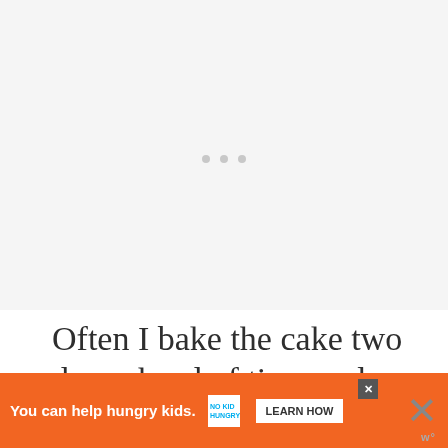[Figure (photo): Blank image placeholder area with three small grey dots indicating a loading carousel or image slider]
Often I bake the cake two days ahead of time and then fill and crumb coat the day ahead and do the final coat of frosting or whipped cream the day of serving if time p
[Figure (other): Advertisement banner: orange background with text 'You can help hungry kids.' No Kid Hungry logo and 'LEARN HOW' button, with close X button]